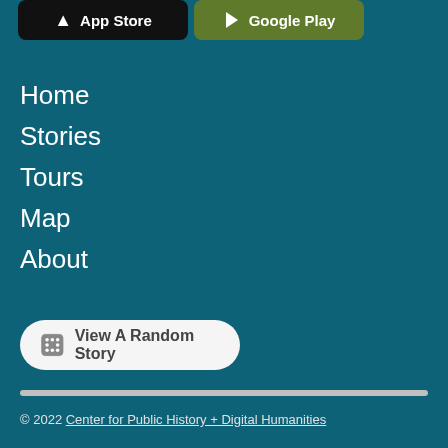[Figure (screenshot): App Store and Google Play download buttons at the top]
Home
Stories
Tours
Map
About
[Figure (other): View A Random Story button with dice icon]
© 2022 Center for Public History + Digital Humanities